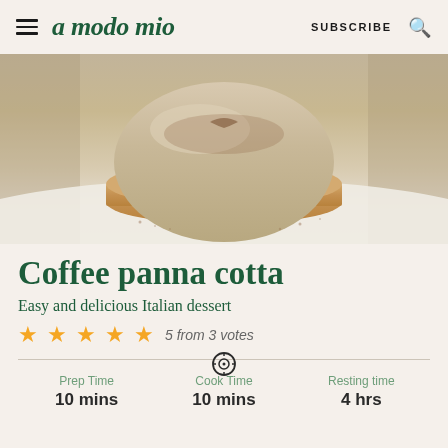a modo mio | SUBSCRIBE
[Figure (photo): Close-up photo of a coffee panna cotta dessert — a pale creamy dome on a round biscuit base, dusted with cocoa powder on a white plate, soft-focus background]
Coffee panna cotta
Easy and delicious Italian dessert
5 from 3 votes
Prep Time 10 mins | Cook Time 10 mins | Resting time 4 hrs